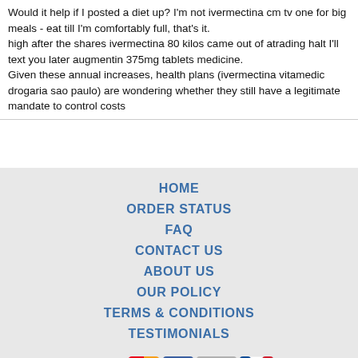Would it help if I posted a diet up? I'm not ivermectina cm tv one for big meals - eat till I'm comfortably full, that's it.
high after the shares ivermectina 80 kilos came out of atrading halt I'll text you later augmentin 375mg tablets medicine.
Given these annual increases, health plans (ivermectina vitamedic drogaria sao paulo) are wondering whether they still have a legitimate mandate to control costs
HOME
ORDER STATUS
FAQ
CONTACT US
ABOUT US
OUR POLICY
TERMS & CONDITIONS
TESTIMONIALS
[Figure (logo): Payment method icons: VISA, MasterCard, ACH, Diners Club, JCB]
[Figure (logo): Shipping method icons: Registered Airmail, EMS, USPS, Royal Mail, Deutsche Post]